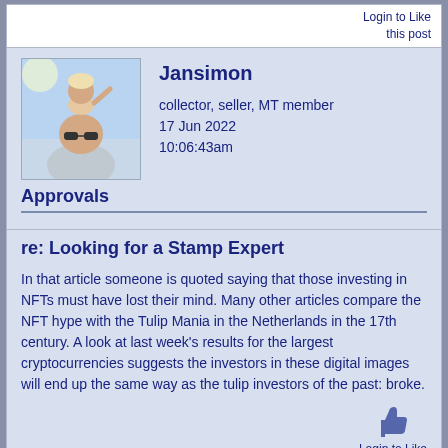Login to Like this post
[Figure (photo): Profile photo of a man wearing sunglasses with a small child on his shoulders, outdoors in sunlight]
Jansimon
collector, seller, MT member
17 Jun 2022
10:06:43am
Approvals
re: Looking for a Stamp Expert
In that article someone is quoted saying that those investing in NFTs must have lost their mind. Many other articles compare the NFT hype with the Tulip Mania in the Netherlands in the 17th century. A look at last week's results for the largest cryptocurrencies suggests the investors in these digital images will end up the same way as the tulip investors of the past: broke.
www.etsy.com/nl/shop ...
Login to Like this post